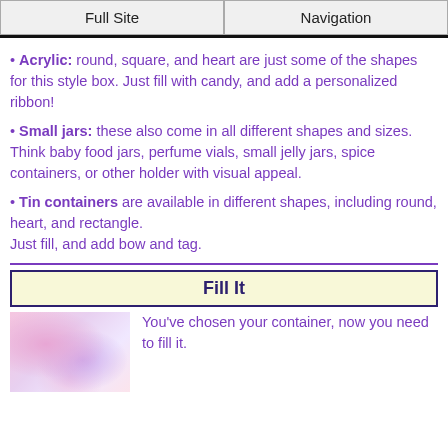Full Site | Navigation
Acrylic: round, square, and heart are just some of the shapes for this style box. Just fill with candy, and add a personalized ribbon!
Small jars: these also come in all different shapes and sizes. Think baby food jars, perfume vials, small jelly jars, spice containers, or other holder with visual appeal.
Tin containers are available in different shapes, including round, heart, and rectangle.
Just fill, and add bow and tag.
Fill It
You've chosen your container, now you need to fill it.